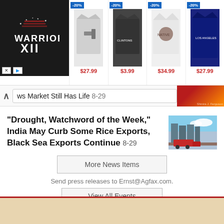[Figure (screenshot): Ad banner with Warrior XII logo on dark background and four t-shirts with -20% discount badges and prices $27.99, $3.99, $34.99, $27.99]
ws Market Still Has Life 8-29
[Figure (photo): Small thumbnail red/orange image on right side of nav bar]
“Drought, Watchword of the Week,” India May Curb Some Rice Exports, Black Sea Exports Continue 8-29
[Figure (photo): Thumbnail photo of grain silos with red truck and blue sky]
More News Items
Send press releases to Ernst@Agfax.com.
View All Events